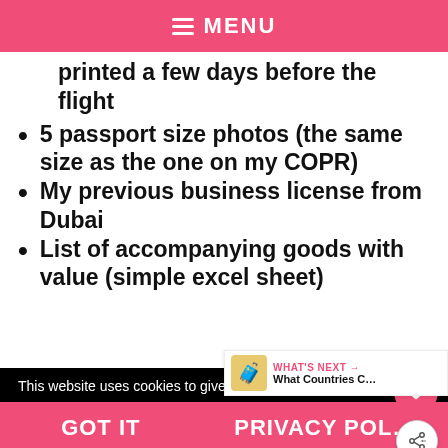MENU
printed a few days before the flight
5 passport size photos (the same size as the one on my COPR)
My previous business license from Dubai
List of accompanying goods with value (simple excel sheet)
This website uses cookies to give you the best experience
GOT IT
PRIVACY POL...
WHAT'S NEXT → What Countries C...